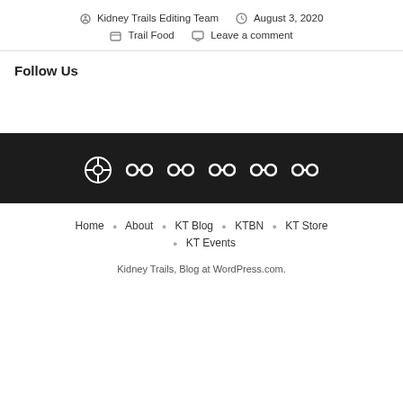By Kidney Trails Editing Team   August 3, 2020   Trail Food   Leave a comment
Follow Us
[Figure (screenshot): Footer dark bar with WordPress icon and five chain/link icons]
Home · About · KT Blog · KTBN · KT Store · KT Events
Kidney Trails, Blog at WordPress.com.